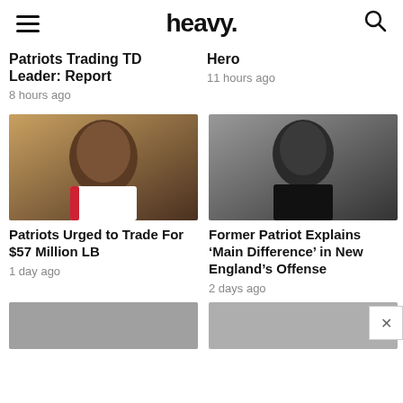heavy.
Patriots Trading TD Leader: Report
8 hours ago
Hero
11 hours ago
[Figure (photo): NFL player in white uniform looking upward]
Patriots Urged to Trade For $57 Million LB
1 day ago
[Figure (photo): Former Patriot player in black shirt on field]
Former Patriot Explains ‘Main Difference’ in New England’s Offense
2 days ago